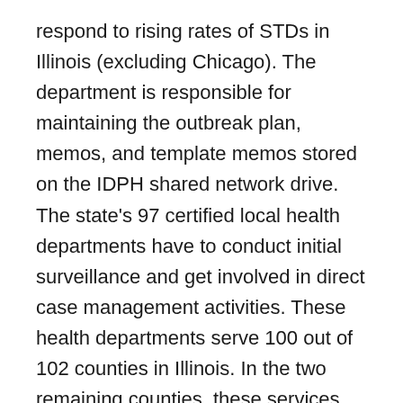respond to rising rates of STDs in Illinois (excluding Chicago). The department is responsible for maintaining the outbreak plan, memos, and template memos stored on the IDPH shared network drive. The state's 97 certified local health departments have to conduct initial surveillance and get involved in direct case management activities. These health departments serve 100 out of 102 counties in Illinois. In the two remaining counties, these services are offered by the STD Section directly. Moreover, the STD section Surveillance and Evaluation Coordinator (SEC) has to identify, track, and coordinate responses to outbreaks with the Syphilis Prevention Coordinator (SPC) guidance.
The Illinois Ryan White Part B Program under the Ryan White CARE Act is authorized to examine and offer